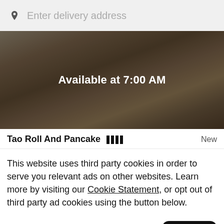Enter delivery address
[Figure (photo): Food image showing rolls/pancakes with dark overlay and text 'Available at 7:00 AM']
Tao Roll And Pancake ||||  New
This website uses third party cookies in order to serve you relevant ads on other websites. Learn more by visiting our Cookie Statement, or opt out of third party ad cookies using the button below.
Opt out
Got it